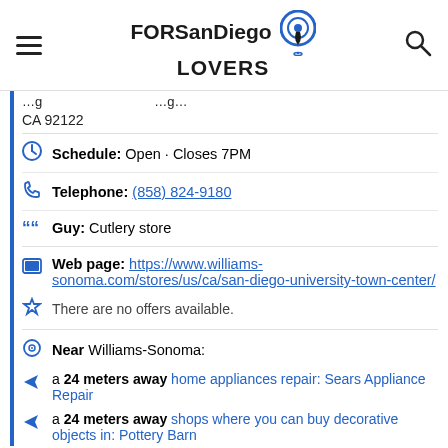FORSanDiego LOVERS
CA 92122
Schedule: Open · Closes 7PM
Telephone: (858) 824-9180
Guy: Cutlery store
Web page: https://www.williams-sonoma.com/stores/us/ca/san-diego-university-town-center/
There are no offers available.
Near Williams-Sonoma:
a 24 meters away home appliances repair: Sears Appliance Repair
a 24 meters away shops where you can buy decorative objects in: Pottery Barn